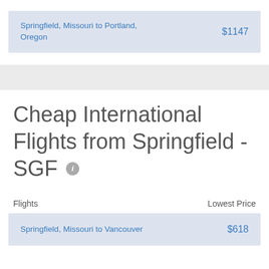| Flights | Lowest Price |
| --- | --- |
| Springfield, Missouri to Portland, Oregon | $1147 |
Cheap International Flights from Springfield - SGF
| Flights | Lowest Price |
| --- | --- |
| Springfield, Missouri to Vancouver | $618 |